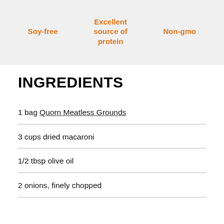Soy-free   Excellent source of protein   Non-gmo
INGREDIENTS
1 bag Quorn Meatless Grounds
3 cups dried macaroni
1/2 tbsp olive oil
2 onions, finely chopped